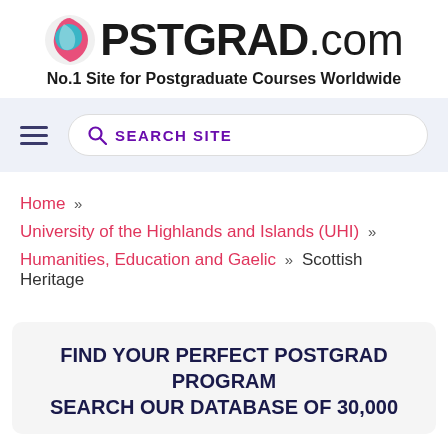[Figure (logo): POSTGRAD.com logo with circular globe icon and tagline 'No.1 Site for Postgraduate Courses Worldwide']
SEARCH SITE
Home » University of the Highlands and Islands (UHI) » Humanities, Education and Gaelic » Scottish Heritage
FIND YOUR PERFECT POSTGRAD PROGRAM SEARCH OUR DATABASE OF 30,000